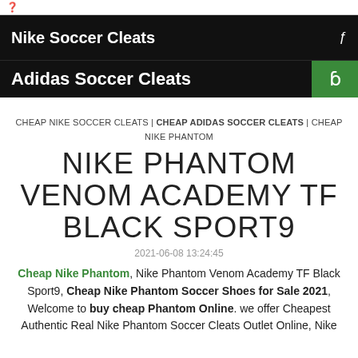?
Nike Soccer Cleats
Adidas Soccer Cleats
CHEAP NIKE SOCCER CLEATS | CHEAP ADIDAS SOCCER CLEATS | CHEAP NIKE PHANTOM
NIKE PHANTOM VENOM ACADEMY TF BLACK SPORT9
2021-06-08 13:24:45
Cheap Nike Phantom, Nike Phantom Venom Academy TF Black Sport9, Cheap Nike Phantom Soccer Shoes for Sale 2021, Welcome to buy cheap Phantom Online. we offer Cheapest Authentic Real Nike Phantom Soccer Cleats Outlet Online, Nike